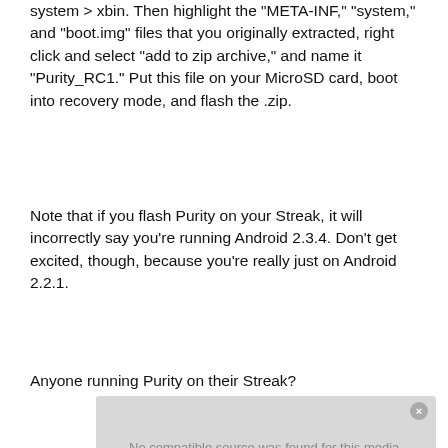system > xbin. Then highlight the "META-INF," "system," and "boot.img" files that you originally extracted, right click and select "add to zip archive," and name it "Purity_RC1." Put this file on your MicroSD card, boot into recovery mode, and flash the .zip.
Note that if you flash Purity on your Streak, it will incorrectly say you're running Android 2.3.4. Don't get excited, though, because you're really just on Android 2.2.1.
Anyone running Purity on their Streak?
[Figure (screenshot): Media player error box with gray background showing 'No compatible source was found for this media.' message with a close button and X overlay]